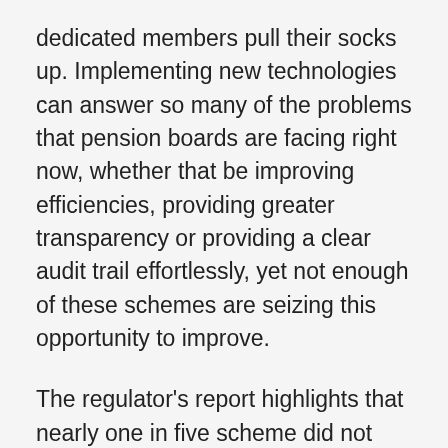dedicated members pull their socks up. Implementing new technologies can answer so many of the problems that pension boards are facing right now, whether that be improving efficiencies, providing greater transparency or providing a clear audit trail effortlessly, yet not enough of these schemes are seizing this opportunity to improve.
The regulator’s report highlights that nearly one in five scheme did not perform a data review in the past 12 months, with a further 8% unsure if they had done so. Joe Dabrowski, head of governance and investment at the Pensions and Lifetime Savings Association, identified data reporting as “the most crucial” area for Local Government Pension